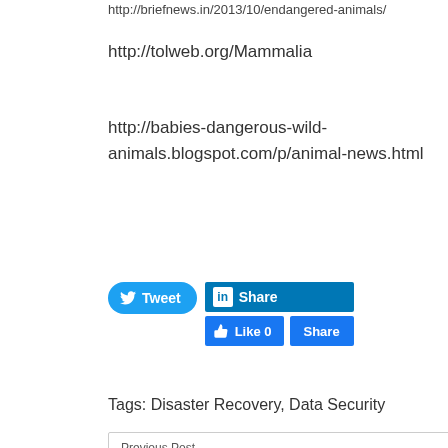http://briefnews.in/2013/10/endangered-animals/
http://tolweb.org/Mammalia
http://babies-dangerous-wild-animals.blogspot.com/p/animal-news.html
[Figure (other): Social sharing buttons: Tweet (Twitter), Share (LinkedIn), Like 0 (Facebook), Share (Facebook)]
Tags: Disaster Recovery, Data Security
Previous Post
Office for iPad Official! Available